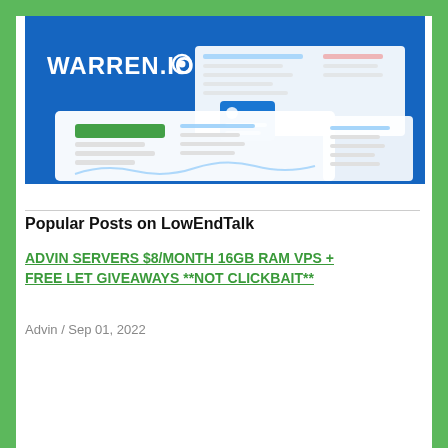[Figure (screenshot): Warren.io product screenshot showing dashboard and UI panels on blue background with white WARREN.IO logo]
Popular Posts on LowEndTalk
ADVIN SERVERS $8/MONTH 16GB RAM VPS + FREE LET GIVEAWAYS **NOT CLICKBAIT**
Advin / Sep 01, 2022